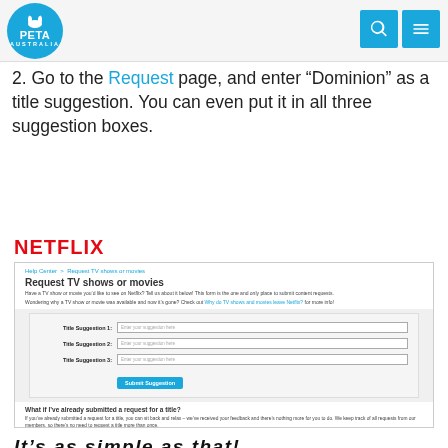PETA Australia
2. Go to the Request page, and enter “Dominion” as a title suggestion. You can even put it in all three suggestion boxes.
[Figure (screenshot): Netflix Help Center screenshot showing 'Request TV shows or movies' page with three 'Title Suggestion' input fields and a 'Submit Suggestion' button, plus a FAQ section below.]
It’s as simple as that!
Netflix keeps track of all requests from its customers.